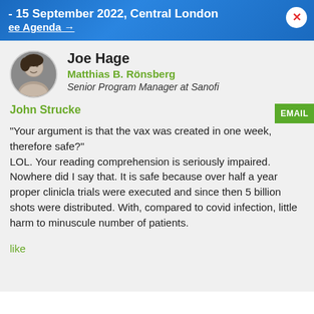- 15 September 2022, Central London
ee Agenda →
Joe Hage
Matthias B. Rönsberg
Senior Program Manager at Sanofi
John Strucke
"Your argument is that the vax was created in one week, therefore safe?" LOL. Your reading comprehension is seriously impaired. Nowhere did I say that. It is safe because over half a year proper clinicla trials were executed and since then 5 billion shots were distributed. With, compared to covid infection, little harm to minuscule number of patients.
like